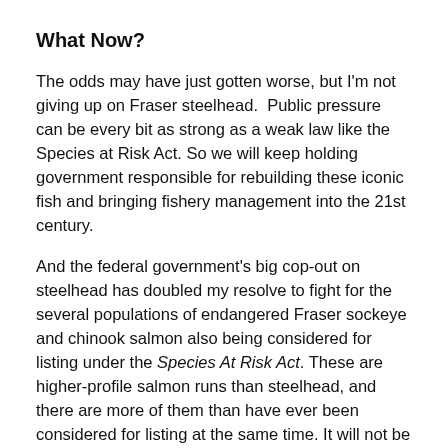What Now?
The odds may have just gotten worse, but I'm not giving up on Fraser steelhead.  Public pressure can be every bit as strong as a weak law like the Species at Risk Act. So we will keep holding government responsible for rebuilding these iconic fish and bringing fishery management into the 21st century.
And the federal government's big cop-out on steelhead has doubled my resolve to fight for the several populations of endangered Fraser sockeye and chinook salmon also being considered for listing under the Species At Risk Act. These are higher-profile salmon runs than steelhead, and there are more of them than have ever been considered for listing at the same time. It will not be so easy for government to condemn them all to abandon their recovery, especially if you and I...